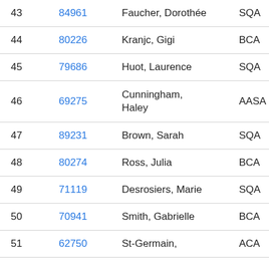| # | ID | Name | Org | Code |
| --- | --- | --- | --- | --- |
| 43 | 84961 | Faucher, Dorothée | SQA | REL… |
| 44 | 80226 | Kranjc, Gigi | BCA | WHI… |
| 45 | 79686 | Huot, Laurence | SQA | STS… |
| 46 | 69275 | Cunningham, Haley | AASA | PAN… |
| 47 | 89231 | Brown, Sarah | SQA | TRE… |
| 48 | 80274 | Ross, Julia | BCA | WHI… |
| 49 | 71119 | Desrosiers, Marie | SQA | VSC… |
| 50 | 70941 | Smith, Gabrielle | BCA | WHI… |
| 51 | 62750 | St-Germain, | ACA |  |